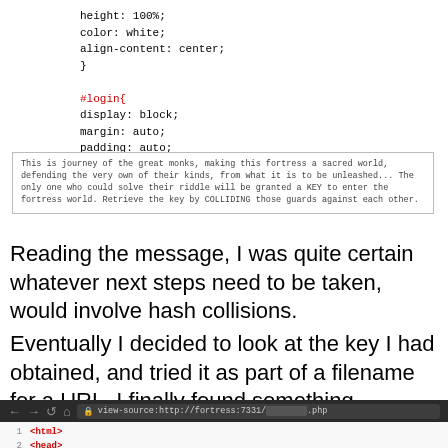height: 100%;
    color: white;
    align-content: center;
}

#login{
    display: block;
    margin: auto;
    padding: auto;

}
[Figure (screenshot): Rendered text box showing game lore message about monks, fortress, and COLLIDING guards to retrieve a key.]
Reading the message, I was quite certain whatever next steps need to be taken, would involve hash collisions.
Eventually I decided to look at the key I had obtained, and tried it as part of a filename for a URL. I finally found something.
[Figure (screenshot): Browser screenshot showing view-source:http://fortress:7331/[redacted].php with HTML source code including html, head, title Chapter 7, and link to assets/style.css.]